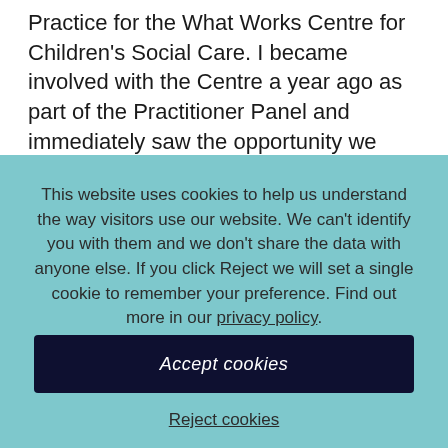Practice for the What Works Centre for Children's Social Care. I became involved with the Centre a year ago as part of the Practitioner Panel and immediately saw the opportunity we have to create an organisation to transform the social work
This website uses cookies to help us understand the way visitors use our website. We can't identify you with them and we don't share the data with anyone else. If you click Reject we will set a single cookie to remember your preference. Find out more in our privacy policy.
Accept cookies
Reject cookies